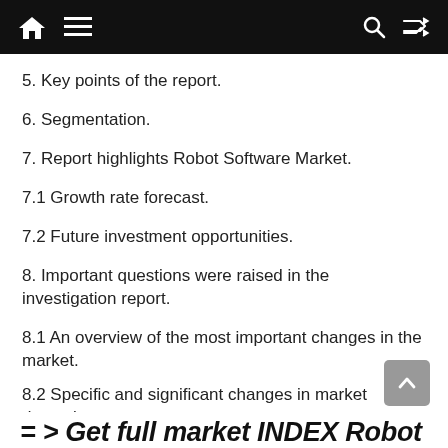Navigation bar with home icon, hamburger menu, search icon, and shuffle icon
5. Key points of the report.
6. Segmentation.
7. Report highlights Robot Software Market.
7.1 Growth rate forecast.
7.2 Future investment opportunities.
8. Important questions were raised in the investigation report.
8.1 An overview of the most important changes in the market.
8.2 Specific and significant changes in market dynamics.
= > Get full market INDEX Robot